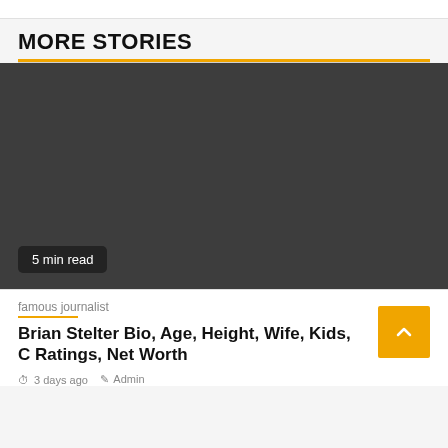MORE STORIES
[Figure (photo): Dark grey placeholder image for article thumbnail with '5 min read' badge overlay at bottom left]
famous journalist
Brian Stelter Bio, Age, Height, Wife, Kids, C Ratings, Net Worth
3 days ago  Admin